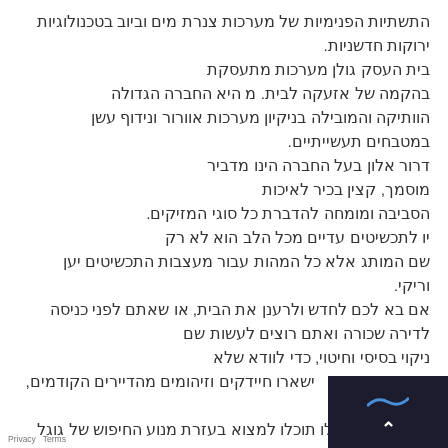התשתיות הפנימיות של מערכות צנרת מים וביוב בטכנולוגיות ירוקות חדשניות. בית העסק גולן מערכות מתעסקת בהקמה של אזעקה לבית. מ היא החברה הגדולה הוותיקה והמובילה בניקיון מערכות אוורור ונידוף עשן במטבחים תעשייתיים. דרור אלון בעל החברה הינו מדביר מוסמך, קצין בכיר לאיכות הסביבה ומומחה להדברת כל סוגי המזיקים. יו לתכשיטים עדיים מכל הלב הוא לא רק שם המותג אלא כל המהות עבור מעצבות התכשיטים יען וריקי. אם בא לכם לחדש ולרענן את הבית, או שאתם לפני כניסה לדירה שכורה ואתם רוצים לעשות שם ניקוי בסיסי וחיטוי, כדי לוודא שלא ישארו חיידקים וזיהומים מהדיירים הקודמים, הזמינו אותנו את הדירות הללו תוכלו למצוא בעזרת מנוע החיפוש של גוגל